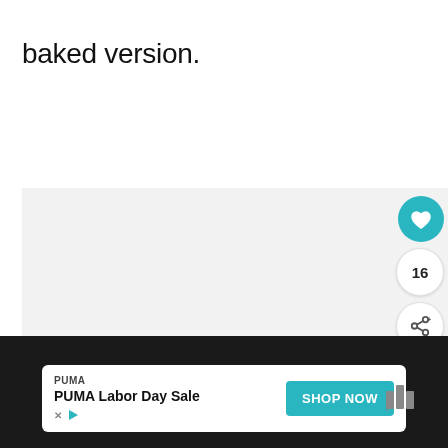baked version.
[Figure (screenshot): Light gray content area with social interaction buttons on the right side: a teal heart/like button, a count of 16, and a share button. A 'What's Next' card shows a food image thumbnail with the text 'What to Serve with Buffalo...']
[Figure (screenshot): Dark footer bar with a PUMA advertisement: 'PUMA Labor Day Sale' with a 'SHOP NOW' teal button, ad badges (X and play icon), and a Tastemade logo at right.]